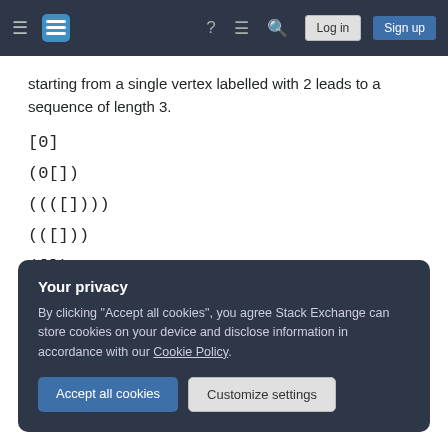Stack Exchange navigation bar with hamburger menu, logo, help, chat, search icons, Log in and Sign up buttons
starting from a single vertex labelled with 2 leads to a sequence of length 3.
[0]
(0[])
((([])))
(([]))
([])
Your privacy
By clicking "Accept all cookies", you agree Stack Exchange can store cookies on your device and disclose information in accordance with our Cookie Policy.
Accept all cookies   Customize settings